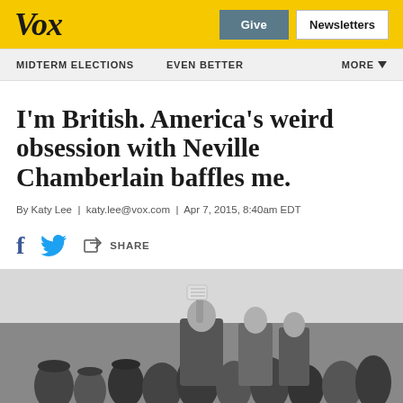Vox | Give | Newsletters
MIDTERM ELECTIONS | EVEN BETTER | MORE
I'm British. America's weird obsession with Neville Chamberlain baffles me.
By Katy Lee | katy.lee@vox.com | Apr 7, 2015, 8:40am EDT
[Figure (photo): Black and white historical photograph of Neville Chamberlain holding up a paper among a crowd of people]
[Figure (infographic): Social share icons: Facebook, Twitter, and a share button]